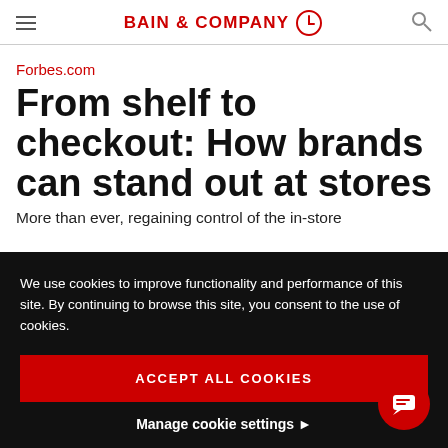BAIN & COMPANY
Forbes.com
From shelf to checkout: How brands can stand out at stores
More than ever, regaining control of the in-store
We use cookies to improve functionality and performance of this site. By continuing to browse this site, you consent to the use of cookies.
ACCEPT ALL COOKIES
Manage cookie settings ▶